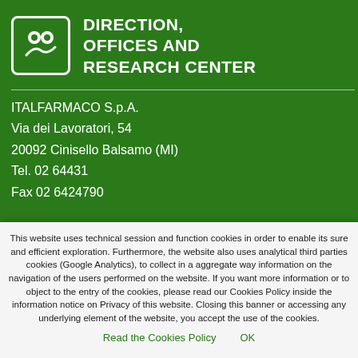DIRECTION, OFFICES AND RESEARCH CENTER
ITALFARMACO S.p.A.
Via dei Lavoratori, 54
20092 Cinisello Balsamo (MI)
Tel. 02 64431
Fax 02 6424790
This website uses technical session and function cookies in order to enable its sure and efficient exploration. Furthermore, the website also uses analytical third parties cookies (Google Analytics), to collect in aggregate way information on the navigation of the users performed on the website. If you want more information or to object to the entry of the cookies, please read our Cookies Policy inside the information notice on Privacy of this website. Closing this banner or accessing any underlying element of the website, you accept the use of the cookies.
Read the Cookies Policy    OK